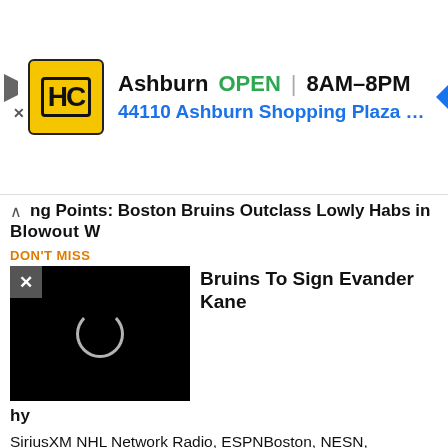[Figure (screenshot): Advertisement banner for a hardware store. Shows HC logo in yellow, 'Ashburn OPEN | 8AM-8PM', '44110 Ashburn Shopping Plaza 190, A...' with a blue navigation arrow icon. Left side has play and X buttons.]
ng Points: Boston Bruins Outclass Lowly Habs in Blowout W
DON'T MISS
[Figure (screenshot): Video thumbnail showing black screen with white loading circle, overlaid with close X button. Partial title visible: 'Bruins To Sign Evander Kane']
hy
SiriusXM NHL Network Radio, ESPNBoston, NESN, NHL.com, etc.) covering the Bruins, the NHL, NCAA and junior hockey and more, Jimmy Murphy's hockey black book is full of Hall of Famers, current players, coaches, management, scouts and a wide array of hockey media personalities that have lived in and around this great game. For 17 of his 20 years as a hockey and sports reporter, Murph covered the